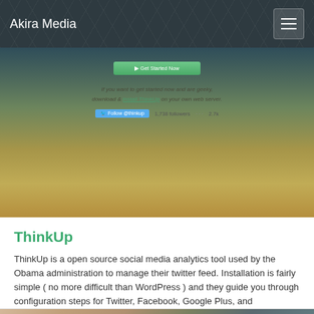Akira Media
[Figure (screenshot): Screenshot of ThinkUp website interface showing a green button and follower count with text about getting started on your own web server]
ThinkUp
ThinkUp is a open source social media analytics tool used by the Obama administration to manage their twitter feed. Installation is fairly simple ( no more difficult than WordPress ) and they guide you through configuration steps for Twitter, Facebook, Google Plus, and Foursquare. I’ve created a little test install on my own server and […]
Read More...
[Figure (photo): Partial photo of a room interior showing a wall, wooden door frame, and a framed picture, with someone's arm visible]